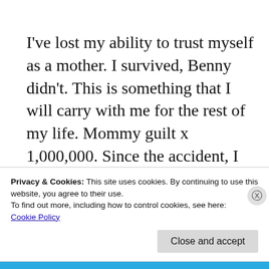I've lost my ability to trust myself as a mother.  I survived, Benny didn't.  This is something that I will carry with me for the rest of my life.  Mommy guilt x 1,000,000.  Since the accident, I noticed that I have problems on stairs.  I couldn't figure it out until I talked to my therapist and she pointed out that my body has physical memory from the accident.  I'm
Privacy & Cookies: This site uses cookies. By continuing to use this website, you agree to their use.
To find out more, including how to control cookies, see here:
Cookie Policy
Close and accept